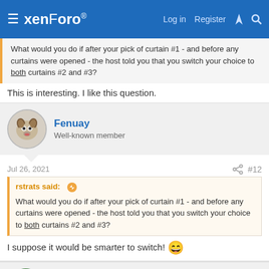xenForo — Log in  Register
What would you do if after your pick of curtain #1 - and before any curtains were opened - the host told you that you switch your choice to both curtains #2 and #3?
This is interesting. I like this question.
Fenuay
Well-known member
Jul 26, 2021  #12
rstrats said:
What would you do if after your pick of curtain #1 - and before any curtains were opened - the host told you that you switch your choice to both curtains #2 and #3?
I suppose it would be smarter to switch! 😀
puddleglum